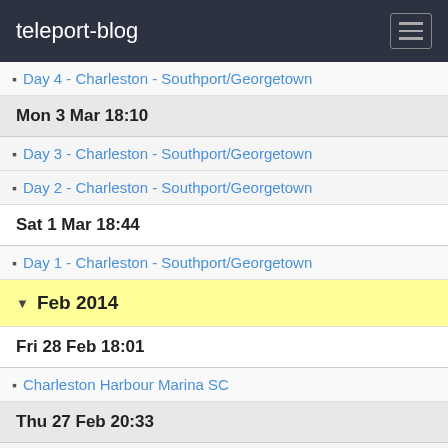teleport-blog
Day 4 - Charleston - Southport/Georgetown
Mon 3 Mar 18:10
Day 3 - Charleston - Southport/Georgetown
Day 2 - Charleston - Southport/Georgetown
Sat 1 Mar 18:44
Day 1 - Charleston - Southport/Georgetown
Feb 2014
Fri 28 Feb 18:01
Charleston Harbour Marina SC
Thu 27 Feb 20:33
Charleston Harbour Marina SC
Sun 16 Feb 18:27
Charleston Harbour Marina SC
Sat 15 Feb 18:14
Charleston Harbour Marina SC